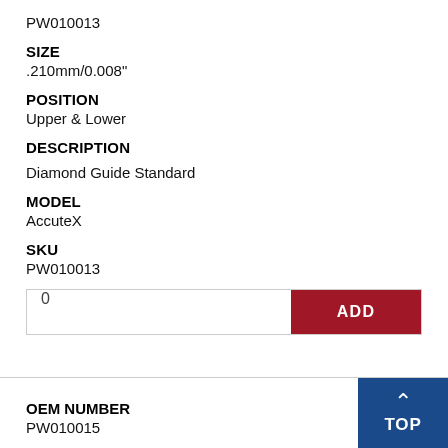PW010013
SIZE
.210mm/0.008"
POSITION
Upper & Lower
DESCRIPTION
Diamond Guide Standard
MODEL
AccuteX
SKU
PW010013
OEM NUMBER
PW010015